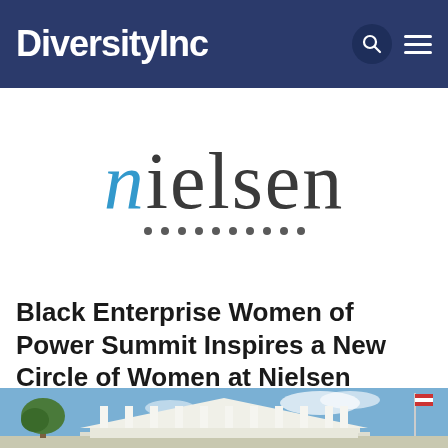DiversityInc
[Figure (logo): Nielsen company logo with stylized lowercase 'n' in blue and remaining letters in dark gray, with a row of dark dots beneath the text]
Black Enterprise Women of Power Summit Inspires a New Circle of Women at Nielsen
[Figure (photo): Photograph of a white neoclassical building with columns, a tree on the left, blue sky with clouds, and a flag pole on the right]